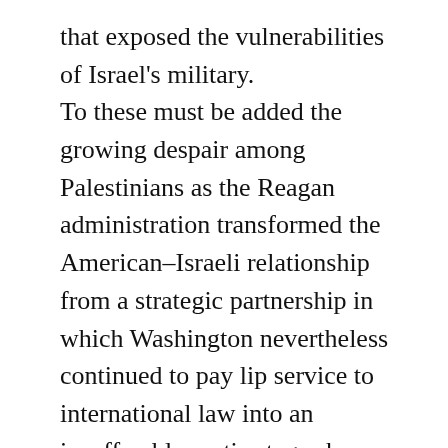that exposed the vulnerabilities of Israel's military. To these must be added the growing despair among Palestinians as the Reagan administration transformed the American–Israeli relationship from a strategic partnership in which Washington nevertheless continued to pay lip service to international law into an insufferable erotic stage show highlighted by multiple mass Congressional orgasms. Simultaneously the Israeli–Egyptian peace treaty was in the West Bank and Gaza Strip translated into the further institutionalization of military government in the guise of its Civil Administration, as well as a